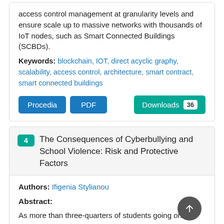access control management at granularity levels and ensure scale up to massive networks with thousands of IoT nodes, such as Smart Connected Buildings (SCBDs).
Keywords: blockchain, IOT, direct acyclic graphy, scalability, access control, architecture, smart contract, smart connected buildings
[Figure (other): Buttons: Procedia, PDF, Downloads 36]
4 The Consequences of Cyberbullying and School Violence: Risk and Protective Factors
Authors: Ifigenia Stylianou
Abstract:
As more than three-quarters of students going online